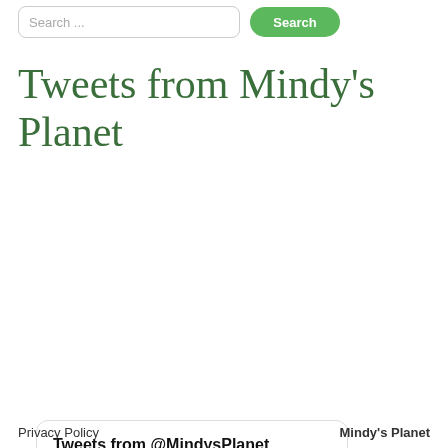Search... Search
Tweets from Mindy's Planet
[Figure (screenshot): Embedded Twitter widget card showing tweets from @MindysPlanet. Header reads 'Tweets from @MindysPlanet'. A tweet from 'Mindy's ...' @... Aug 8 with text 'Get outside today 💜' and a green nature photo at the bottom.]
Privacy Policy    Mindy's Planet